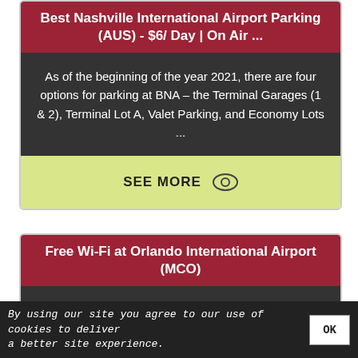Best Nashville International Airport Parking (AUS) - $6/ Day | On Air ...
As of the beginning of the year 2021, there are four options for parking at BNA – the Terminal Garages (1 & 2), Terminal Lot A, Valet Parking, and Economy Lots ...
SEE MORE
Free Wi-Fi at Orlando International Airport (MCO)
Trouble Connecting? While using our Free Wi-Fi
By using our site you agree to our use of cookies to deliver a better site experience.